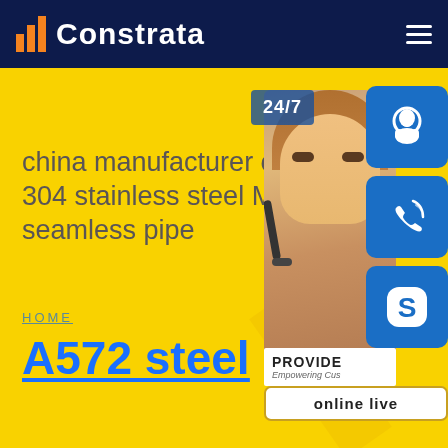Constrata
china manufacturer of 304 stainless steel Mo seamless pipe
HOME
A572 steel
[Figure (screenshot): Customer support representative with headset, with 24/7 label, phone icon, Skype icon, headset icon, PROVIDE Empowering Customers text, and online live button on the right side panel]